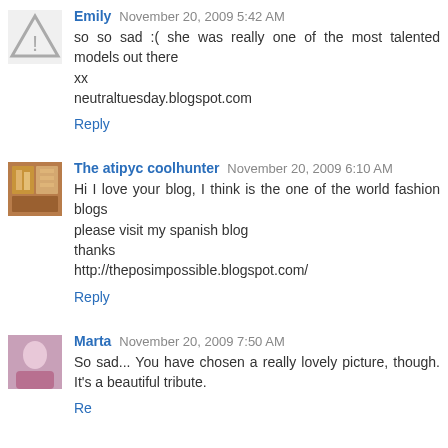so so sad :( she was really one of the most talented models out there
xx
neutraltuesday.blogspot.com
Reply
The atipyc coolhunter  November 20, 2009 6:10 AM
Hi I love your blog, I think is the one of the world fashion blogs
please visit my spanish blog
thanks
http://theposimpossible.blogspot.com/
Reply
Marta  November 20, 2009 7:50 AM
So sad... You have chosen a really lovely picture, though. It's a beautiful tribute.